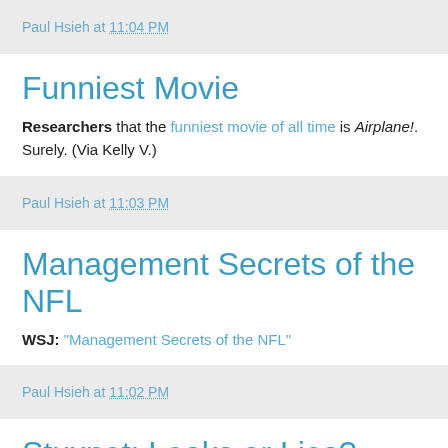Paul Hsieh at 11:04 PM
Funniest Movie
Researchers that the funniest movie of all time is Airplane!. Surely. (Via Kelly V.)
Paul Hsieh at 11:03 PM
Management Secrets of the NFL
WSJ: "Management Secrets of the NFL"
Paul Hsieh at 11:02 PM
Stuxnet: Leaks or Lies?